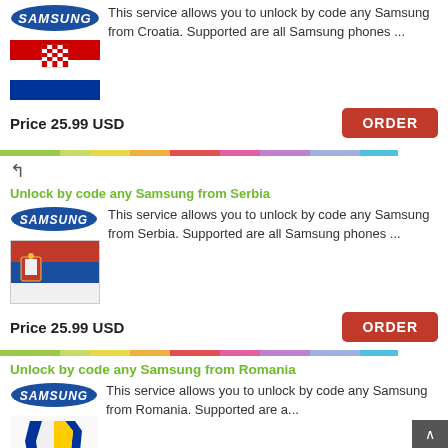This service allows you to unlock by code any Samsung from Croatia. Supported are all Samsung phones ...
Price 25.99 USD
ORDER
Unlock by code any Samsung from Serbia
This service allows you to unlock by code any Samsung from Serbia. Supported are all Samsung phones ...
Price 25.99 USD
ORDER
Unlock by code any Samsung from Romania
This service allows you to unlock by code any Samsung from Romania. Supported are a...